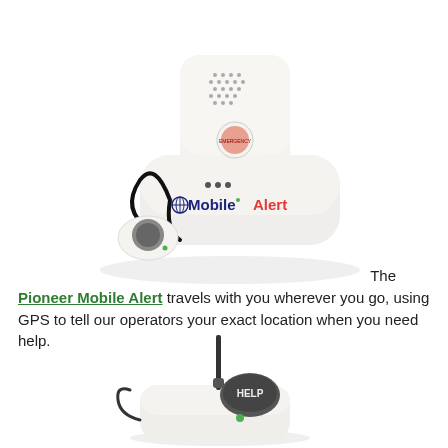[Figure (photo): Photo of the Pioneer Mobile Alert device — a white base unit with 'MobileAlert' branding and a separate white emergency button pendant on a black lanyard.]
The Pioneer Mobile Alert travels with you wherever you go, using GPS to tell our operators your exact location when you need help.
[Figure (photo): Photo of a second medical alert device — a white base unit with a tall antenna and a 'HELP' button.]